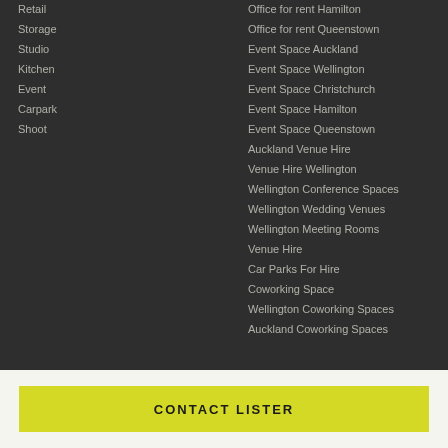Retail
Storage
Studio
Kitchen
Event
Carpark
Shoot
Office for rent Hamilton
Office for rent Queenstown
Event Space Auckland
Event Space Wellington
Event Space Christchurch
Event Space Hamilton
Event Space Queenstown
Auckland Venue Hire
Venue Hire Wellington
Wellington Conference Spaces
Wellington Wedding Venues
Wellington Meeting Rooms
Venue Hire
Car Parks For Hire
Coworking Space
Wellington Coworking Spaces
Auckland Coworking Spaces
CONTACT LISTER